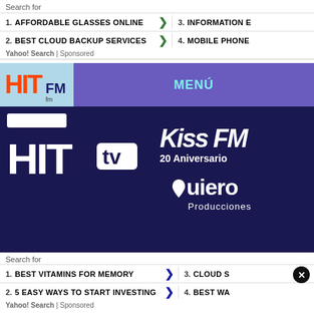Search for
1. AFFORDABLE GLASSES ONLINE
2. BEST CLOUD BACKUP SERVICES
3. INFORMATION E
4. MOBILE PHONE
Yahoo! Search | Sponsored
[Figure (screenshot): Hit FM radio station website screenshot showing Hit FM logo, navigation menu with MENÚ button, Kiss FM 20 Aniversario, Quiero Producciones logo, Hit TV logo, and footer links Aviso Legal and Contacto]
Search for
1. BEST VITAMINS FOR MEMORY
2. 5 EASY WAYS TO START INVESTING
3. CLOUD S
4. BEST WA
Yahoo! Search | Sponsored